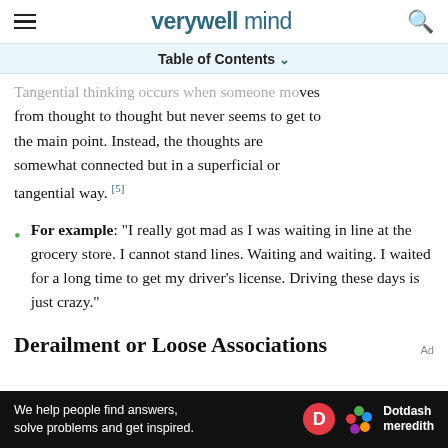verywell mind
Table of Contents ∨
Tangential thinking occurs when someone moves from thought to thought but never seems to get to the main point. Instead, the thoughts are somewhat connected but in a superficial or tangential way. [5]
For example: "I really got mad as I was waiting in line at the grocery store. I cannot stand lines. Waiting and waiting. I waited for a long time to get my driver's license. Driving these days is just crazy."
Derailment or Loose Associations